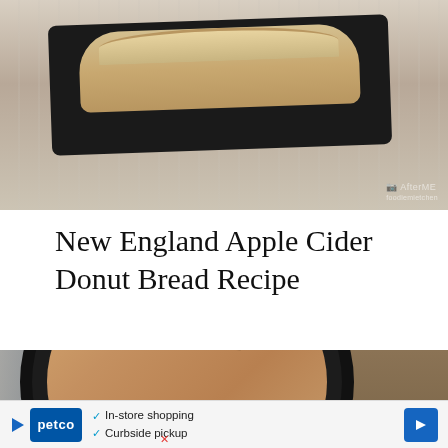[Figure (photo): Photo of a bread loaf on a black tray on a light linen cloth surface with watermark text]
New England Apple Cider Donut Bread Recipe
[Figure (photo): Overhead view of a baked good in a cast iron skillet with chocolate chips, on a wooden surface with blue plaid cloth]
[Figure (other): Petco advertisement banner with in-store shopping and curbside pickup options]